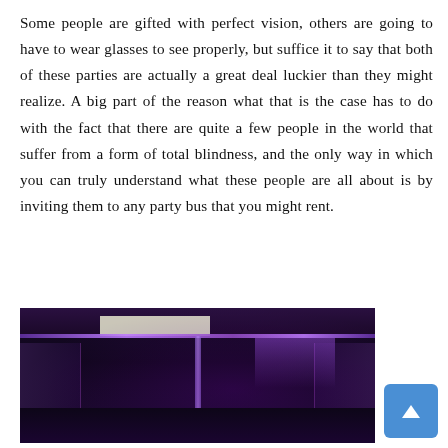Some people are gifted with perfect vision, others are going to have to wear glasses to see properly, but suffice it to say that both of these parties are actually a great deal luckier than they might realize. A big part of the reason what that is the case has to do with the fact that there are quite a few people in the world that suffer from a form of total blindness, and the only way in which you can truly understand what these people are all about is by inviting them to any party bus that you might rent.
[Figure (photo): Interior of a party bus with purple/violet LED lighting, rows of seats on both sides, a central pole, and a screen/monitor mounted near the ceiling. The atmosphere is dark with dramatic purple neon illumination.]